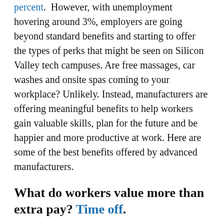provided health benefits of any industry at 92 percent. However, with unemployment hovering around 3%, employers are going beyond standard benefits and starting to offer the types of perks that might be seen on Silicon Valley tech campuses. Are free massages, car washes and onsite spas coming to your workplace? Unlikely. Instead, manufacturers are offering meaningful benefits to help workers gain valuable skills, plan for the future and be happier and more productive at work. Here are some of the best benefits offered by advanced manufacturers.
What do workers value more than extra pay? Time off.
At companies like Aerojet Rocketdyne in Southern